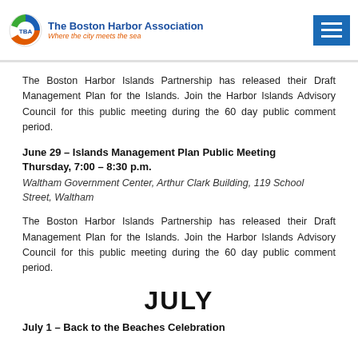The Boston Harbor Association — Where the city meets the sea
The Boston Harbor Islands Partnership has released their Draft Management Plan for the Islands. Join the Harbor Islands Advisory Council for this public meeting during the 60 day public comment period.
June 29 – Islands Management Plan Public Meeting Thursday, 7:00 – 8:30 p.m.
Waltham Government Center, Arthur Clark Building, 119 School Street, Waltham
The Boston Harbor Islands Partnership has released their Draft Management Plan for the Islands. Join the Harbor Islands Advisory Council for this public meeting during the 60 day public comment period.
JULY
July 1 – Back to the Beaches Celebration